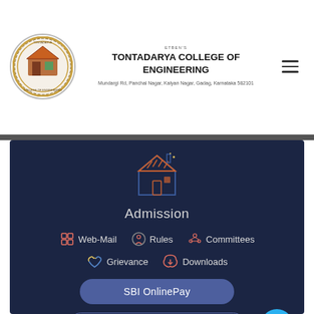[Figure (logo): Circular college logo/seal with decorative border and imagery]
TONTADARYA COLLEGE OF ENGINEERING
Mundargi Rd, Panchal Nagar, Kalyan Nagar, Gadag, Karnataka 582101
[Figure (illustration): Dark navy panel with house icon, navigation links (Admission, Web-Mail, Rules, Committees, Grievance, Downloads), SBI OnlinePay button, and MOCK KCET 2022 Registration button with teal floating action button]